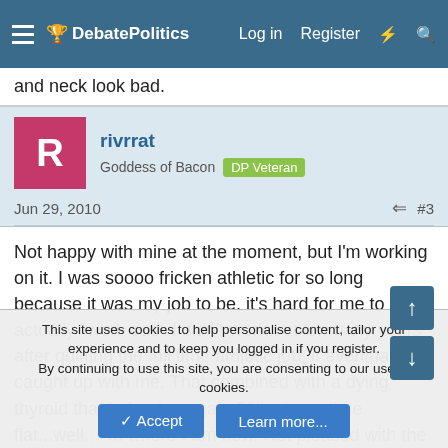DebatePolitics — Log in  Register
and neck look bad.
rivrrat
Goddess of Bacon  DP Veteran
Jun 29, 2010  #3
Not happy with mine at the moment, but I'm working on it. I was soooo fricken athletic for so long because it was my job to be, it's hard for me to actually *work out*. I didn't work out for many years after quitting the full time athletic job, it eventually caught up with me. That combined with a dying thyroid that helped me gain 20lbs in no time flat...well.. I'm where I am now. Not pleased with the way I look, currently.
But it's getting better! I realized walking in to work today the...
This site uses cookies to help personalise content, tailor your experience and to keep you logged in if you register.
By continuing to use this site, you are consenting to our use of cookies.
Accept  Learn more...